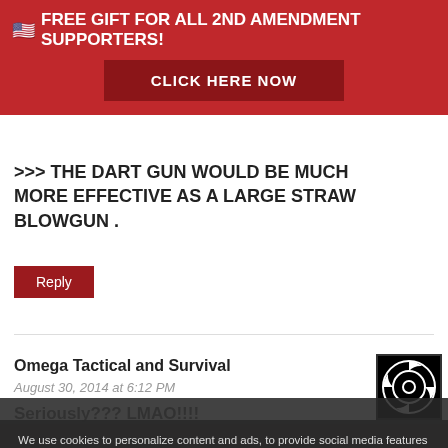[Figure (infographic): Red banner ad with US flag emoji: FREE GIFT FOR ALL 2ND AMENDMENT SUPPORTERS! with CLICK HERE NOW button]
>>> THE DART GUN WOULD BE MUCH MORE EFFECTIVE AS A LARGE STRAW BLOWGUN .
Reply
Omega Tactical and Survival
August 30, 2014 at 6:12 PM
Seriously??? LMAO!!!!
Reply
We use cookies to personalize content and ads, to provide social media features and to analyze our traffic. You consent to our cookies if you continue to use our website.
Accept